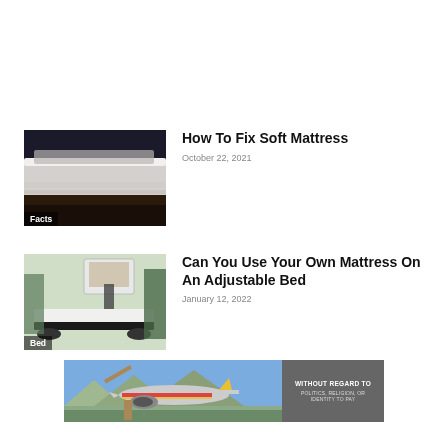[Figure (photo): Close-up of mattress layers/edges, soft bedding photo with 'Facts' label overlay]
How To Fix Soft Mattress
October 22, 2021
[Figure (photo): Adjustable bed frame in a bedroom setting with 'Bed' label overlay]
Can You Use Your Own Mattress On An Adjustable Bed
January 12, 2022
[Figure (photo): Advertisement banner showing airplane being loaded with cargo and text 'WITHOUT REGARD TO POLITICS, RELIGION, OR IDENTITY TO PAY']